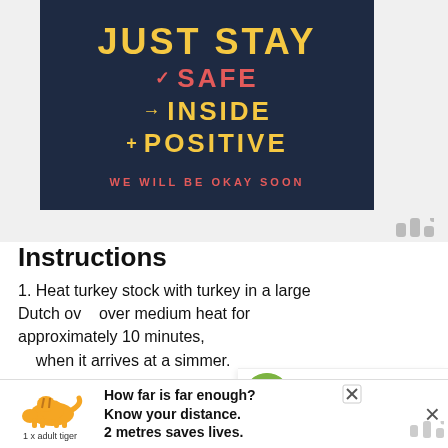[Figure (illustration): Dark navy blue card with text: JUST STAY / check SAFE / arrow INSIDE / + POSITIVE / WE WILL BE OKAY SOON in yellow, red, and white stylized lettering]
Instructions
Heat turkey stock with turkey in a large Dutch ov over medium heat for approximately 10 minutes, when it arrives at a simmer.
Add pearl couscous, cooking for 5 minu frozen vegetables, ground black pepper and
[Figure (infographic): WHAT'S NEXT arrow: Crockpot Chicken... with food thumbnail]
[Figure (infographic): Advertisement banner: tiger illustration, text 'How far is far enough? Know your distance. 2 metres saves lives. 1 x adult tiger']